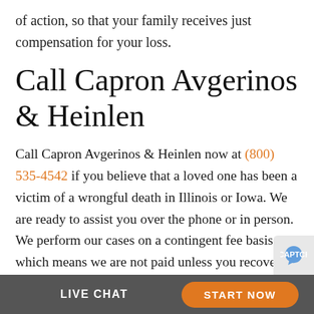of action, so that your family receives just compensation for your loss.
Call Capron Avgerinos & Heinlen
Call Capron Avgerinos & Heinlen now at (800) 535-4542 if you believe that a loved one has been a victim of a wrongful death in Illinois or Iowa. We are ready to assist you over the phone or in person. We perform our cases on a contingent fee basis, which means we are not paid unless you recover compensation f
LIVE CHAT   START NOW